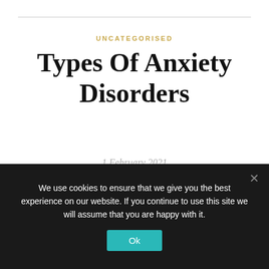UNCATEGORISED
Types Of Anxiety Disorders
1 February 2021
Anxiety is a common psychological order in current times. People around us often face the challenges related to the anxiety. Anxiety disorder can range from minor or mild symptoms to extreme ones. The things can be controlled before getting worse if you check for a proper anxiety
We use cookies to ensure that we give you the best experience on our website. If you continue to use this site we will assume that you are happy with it.